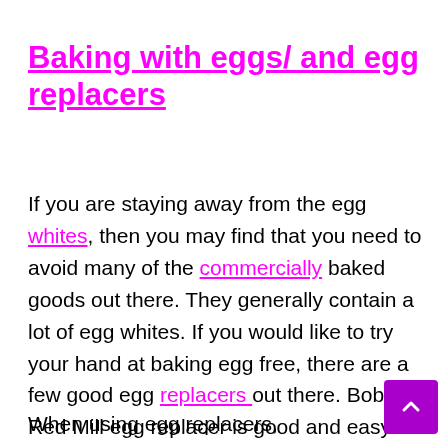Baking with eggs/ and egg replacers
If you are staying away from the egg whites, then you may find that you need to avoid many of the commercially baked goods out there. They generally contain a lot of egg whites. If you would like to try your hand at baking egg free, there are a few good egg replacers out there. Bob's Red Mill egg replacer is good and easy to use. It is also gluten free. Only a small amount is needed. This one below contains (2) bags.

When using egg replacers, experiment with how